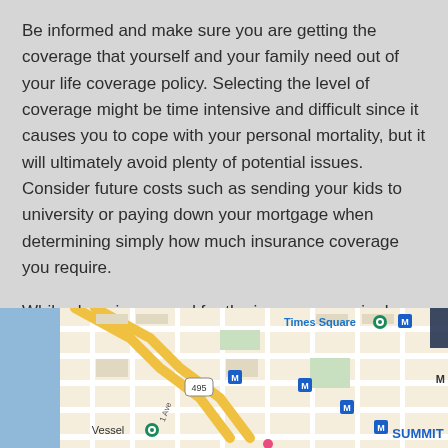Be informed and make sure you are getting the coverage that yourself and your family need out of your life coverage policy. Selecting the level of coverage might be time intensive and difficult since it causes you to cope with your personal mortality, but it will ultimately avoid plenty of potential issues. Consider future costs such as sending your kids to university or paying down your mortgage when determining simply how much insurance coverage you require.
While shopping around for the insurance carrier by which to buy life coverage, choose a large company that features a solid reputation.
[Figure (map): Google Maps view showing midtown Manhattan area including Times Square, Vessel, and route 495, with blue water on left and street grid.]